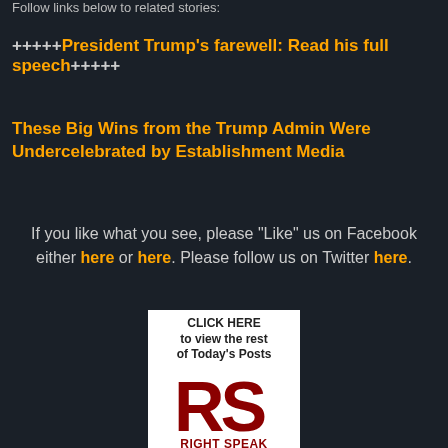Follow links below to related stories:
+++++President Trump's farewell: Read his full speech+++++
These Big Wins from the Trump Admin Were Undercelebrated by Establishment Media
If you like what you see, please "Like" us on Facebook either here or here. Please follow us on Twitter here.
[Figure (logo): Right Speak logo with red RS letters and tagline 'Place for All Conservatives to Speak Their Mind', with 'CLICK HERE to view the rest of Today's Posts' text above it]